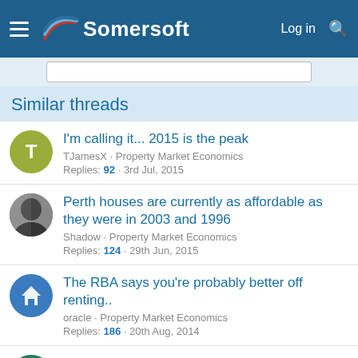Somersoft — Log in
Similar threads
I'm calling it... 2015 is the peak
TJamesX · Property Market Economics
Replies: 92 · 3rd Jul, 2015
Perth houses are currently as affordable as they were in 2003 and 1996
Shadow · Property Market Economics
Replies: 124 · 29th Jun, 2015
The RBA says you're probably better off renting..
oracle · Property Market Economics
Replies: 186 · 20th Aug, 2014
Australia is in one of the worst housing bubbles we have ever seen - Lindsay David